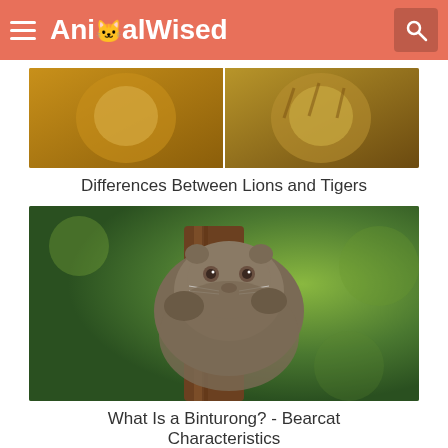AnimalWised
[Figure (photo): Partial cropped photo showing a lion and tiger side by side]
Differences Between Lions and Tigers
[Figure (photo): A binturong (bearcat) climbing on a wooden post with green foliage background]
What Is a Binturong? - Bearcat Characteristics
[Figure (photo): Partial view of a deer comparison table showing Capreolinae (Common Roe Deer), Cervinae (Sika Deer), and Hydropotinae (Chinese Water Deer) with photos]